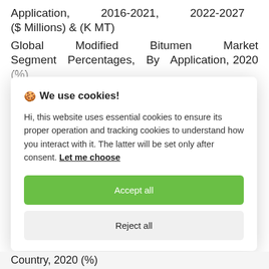Application, 2016-2021, 2022-2027 ($ Millions) & (K MT)
Global Modified Bitumen Market Segment Percentages, By Application, 2020 (%)
Road Construction & Paving
🍪 We use cookies!
Hi, this website uses essential cookies to ensure its proper operation and tracking cookies to understand how you interact with it. The latter will be set only after consent. Let me choose
Accept all
Reject all
Country, 2020 (%)